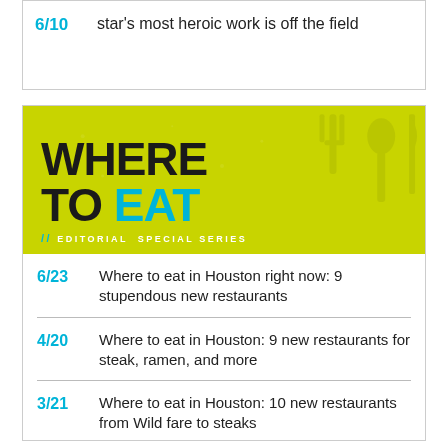6/10 — star's most heroic work is off the field
[Figure (illustration): WHERE TO EAT // Editorial Special Series banner with yellow-green background and decorative fork/spoon silhouettes]
6/23 — Where to eat in Houston right now: 9 stupendous new restaurants
4/20 — Where to eat in Houston: 9 new restaurants for steak, ramen, and more
3/21 — Where to eat in Houston: 10 new restaurants from Wild fare to steaks